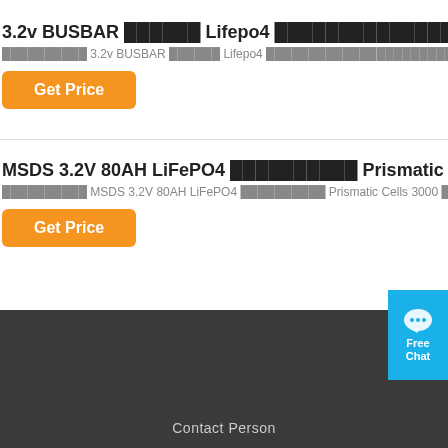3.2v BUSBAR ██████ Lifepo4 ███████████████████████████ ...
██████████ 3.2v BUSBAR ██████ Lifepo4 ████████████████████████████████████████████ ████████
Get Price
MSDS 3.2V 80AH LiFePO4 ██████████ Prismatic Cells 3000 ███
██████████ MSDS 3.2V 80AH LiFePO4 ██████████ Prismatic Cells 3000 █████ █████████████████, ██
Get Price
Contact Person